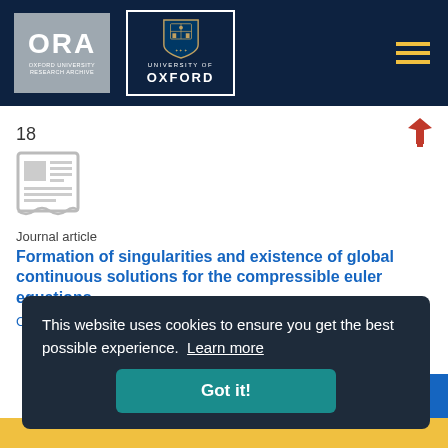[Figure (logo): ORA Oxford University Research Archive logo and University of Oxford shield logo on dark navy header bar]
18
[Figure (illustration): Journal article icon - newspaper/document icon in grey]
Journal article
Formation of singularities and existence of global continuous solutions for the compressible euler equations
C
This website uses cookies to ensure you get the best possible experience.  Learn more
Got it!